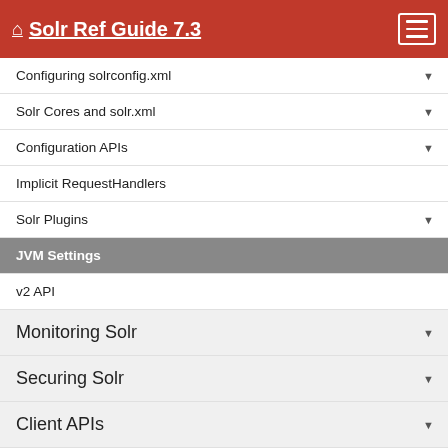Solr Ref Guide 7.3
Configuring solrconfig.xml
Solr Cores and solr.xml
Configuration APIs
Implicit RequestHandlers
Solr Plugins
JVM Settings
v2 API
Monitoring Solr
Securing Solr
Client APIs
Further Assistance
Solr Glossary
Errata
How to Contribute to Solr Documentation